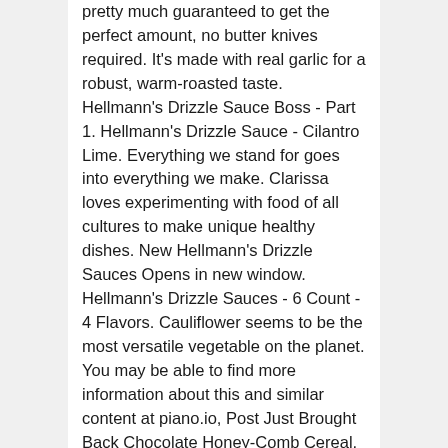pretty much guaranteed to get the perfect amount, no butter knives required. It's made with real garlic for a robust, warm-roasted taste. Hellmann's Drizzle Sauce Boss - Part 1. Hellmann's Drizzle Sauce - Cilantro Lime. Everything we stand for goes into everything we make. Clarissa loves experimenting with food of all cultures to make unique healthy dishes. New Hellmann's Drizzle Sauces Opens in new window. Hellmann's Drizzle Sauces - 6 Count - 4 Flavors. Cauliflower seems to be the most versatile vegetable on the planet. You may be able to find more information about this and similar content at piano.io, Post Just Brought Back Chocolate Honey-Comb Cereal, See Every Starbucks Frappuccino Around The World, This Chocolate Brand Has A Bar For Every Adult, Hershey's Valentine's Candy Is Coming ASAP, Reese's Big Box O' Love Is The Perfect V-Day Gift, Hershey's Easter Candy For 2021 Is Coming Soon, LIQS Are Perfect For Your At-Home NYE Celebration, You Can Ring In The New Year With Fred & Barney, Kit Kat Is Apparently Making the Candy Thinner. This sauce may be the perfect condiment to accompany fish tacos, salads, shrimp, and more.